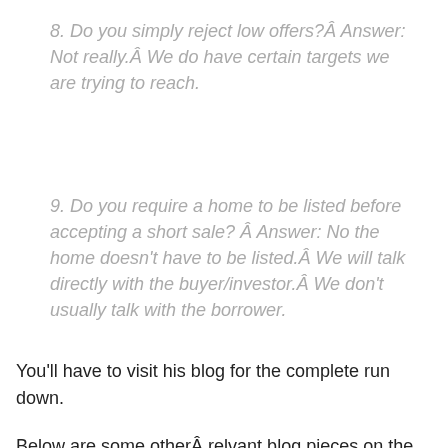8. Do you simply reject low offers? Answer: Not really.  We do have certain targets we are trying to reach.
9. Do you require a home to be listed before accepting a short sale?  Answer: No the home doesn't have to be listed.  We will talk directly with the buyer/investor.  We don't usually talk with the borrower.
You'll have to visit his blog for the complete run down.
Below are some other relevant blog pieces on the amazing short sale phenomenon: